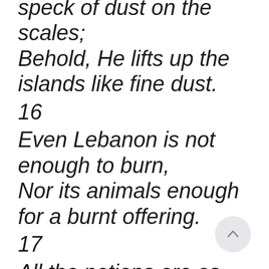speck of dust on the scales; Behold, He lifts up the islands like fine dust.
16
Even Lebanon is not enough to burn, Nor its animals enough for a burnt offering.
17
All the nations are as nothing before Him, They are regarded by Him as less than nothing